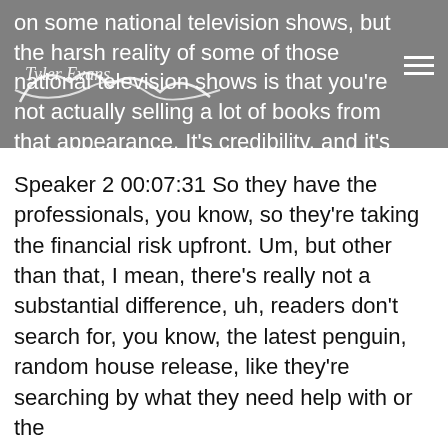on some national television shows, but the harsh reality of some of those national television shows is that you're not actually selling a lot of books from that appearance. It's credibility, and it's got a feed into all of your funnel, but that's really, and they upfront the cost, right?
Speaker 2 00:07:31 So they have the professionals, you know, so they're taking the financial risk upfront. Um, but other than that, I mean, there's really not a substantial difference, uh, readers don't search for, you know, the latest penguin, random house release, like they're searching by what they need help with or the